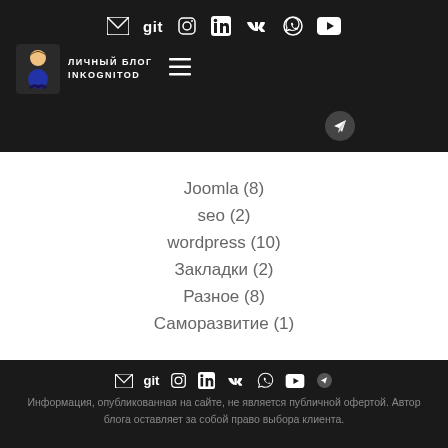ЛИЧНЫЙ БЛОГ INKOGNITOD — navigation with social icons: mail, git, instagram, linkedin, vk, whatsapp, youtube, telegram
Joomla (8)
seo (2)
wordpress (10)
Закладки (2)
Разное (8)
Саморазвитие (1)
Информация, опубликованная на сайте, не является публичной офертой. Автор блога оставляет за собой право выбора клиента.